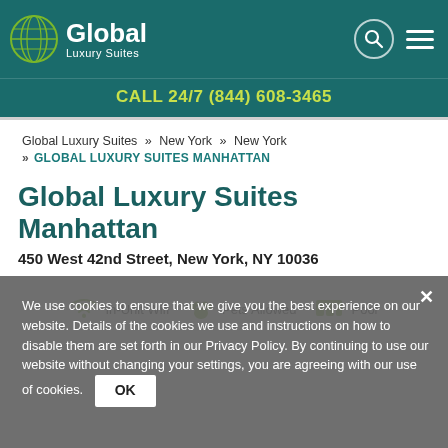Global Luxury Suites
CALL 24/7 (844) 608-3465
Global Luxury Suites » New York » New York » GLOBAL LUXURY SUITES MANHATTAN
Global Luxury Suites Manhattan
450 West 42nd Street, New York, NY 10036
In-Unit Wifi   Pets Allowed   Pool
We use cookies to ensure that we give you the best experience on our website. Details of the cookies we use and instructions on how to disable them are set forth in our Privacy Policy. By continuing to use our website without changing your settings, you are agreeing with our use of cookies.